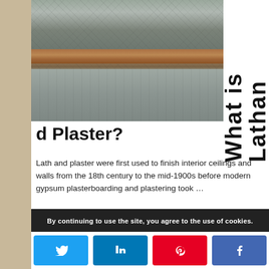[Figure (photo): Photo of lath and plaster wall showing textured grey plaster surface with a horizontal wooden lath (brown timber strip) visible across the middle, set against a brick background]
What is Lath and Plaster?
Lath and plaster were first used to finish interior ceilings and walls from the 18th century to the mid-1900s before modern gypsum plasterboarding and plastering took …
[Read More...]
By continuing to use the site, you agree to the use of cookies.